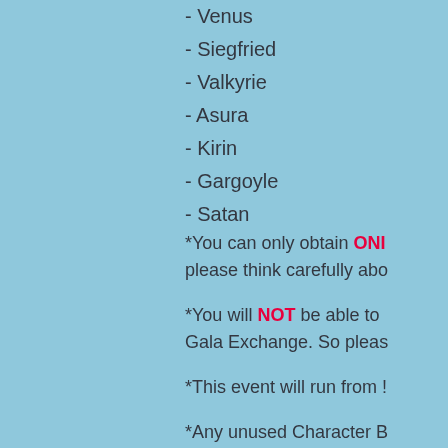- Venus
- Siegfried
- Valkyrie
- Asura
- Kirin
- Gargoyle
- Satan
*You can only obtain ONE please think carefully abo
*You will NOT be able to Gala Exchange. So pleas
*This event will run from !
*Any unused Character B